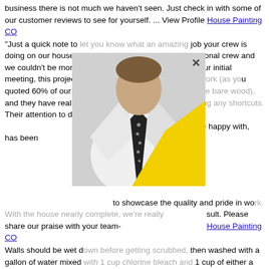business there is not much we haven't seen. Just check in with some of our customer reviews to see for yourself. ... View Profile House Painting CO
"Just a quick note to let you know what an amazing job your crew is doing on our house… They are a delightful and professional crew and we couldn't be more pleased. As we discussed during our initial meeting, this project was going to require a lot of prep work (as you quoted 60% of our clapboard would be taken down to the bare wood), and they have really stepped up to the task without taking any shortcuts. Their attention to detail, in regard to creating a surface that we'd all be happy with, has been to showcase the quality and pride in work. With the house nearly complete, we're really pleased with the result. Please share our praise with your team- House Painting CO
[Figure (photo): Pop-up overlay showing a man in a white shirt and polka-dot tie with a yellow folder/document, overlaid on greyed-out text. An X close button appears at top right of the overlay.]
Walls should be wet down before getting scrubbed, then washed with a gallon of water mixed with 1 cup chlorine bleach and 1 cup of either a concentrated, phosphate-free cleaner, such as a trisodium phosphate (TSP) substitute, or Jomax House Cleaner. Working in sections, from the bottom to the top, will avoid streaks. Be sure to rinse walls well before the solution dries. Wood siding and trim should be ready to paint after a day or two of dry weather. House Painting
House Painting Sitemap Contact us at webmaster@chat623.info | Sitemap txt | Sitemap